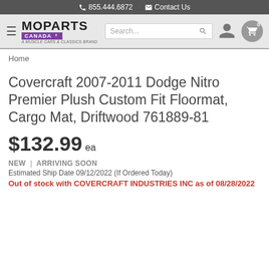855.444.6872  Contact Us
[Figure (logo): Moparts Canada logo — A Muscle Cars & Classics Brand]
Home
Covercraft 2007-2011 Dodge Nitro Premier Plush Custom Fit Floormat, Cargo Mat, Driftwood 761889-81
$132.99 ea
NEW  |  ARRIVING SOON
Estimated Ship Date 09/12/2022 (If Ordered Today)
Out of stock with COVERCRAFT INDUSTRIES INC as of 08/28/2022